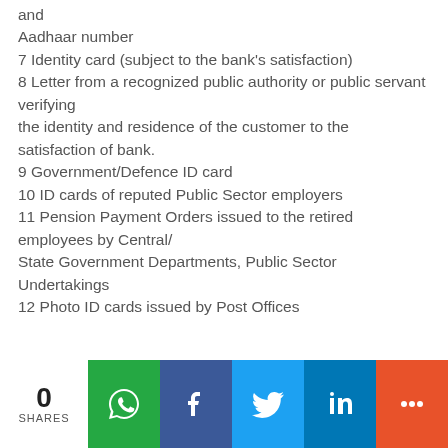and
Aadhaar number
7 Identity card (subject to the bank's satisfaction)
8 Letter from a recognized public authority or public servant verifying the identity and residence of the customer to the satisfaction of bank.
9 Government/Defence ID card
10 ID cards of reputed Public Sector employers
11 Pension Payment Orders issued to the retired employees by Central/ State Government Departments, Public Sector Undertakings
12 Photo ID cards issued by Post Offices
0 SHARES